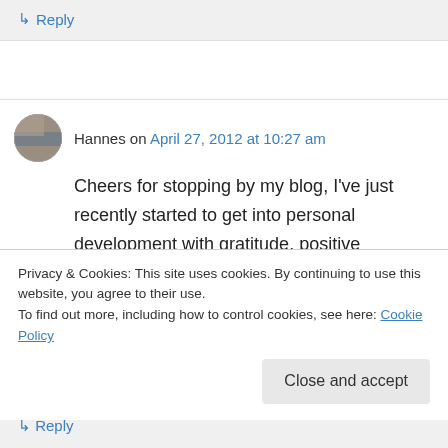↳ Reply
Hannes on April 27, 2012 at 10:27 am
Cheers for stopping by my blog, I've just recently started to get into personal development with gratitude, positive psychology, meditation, happiness, mindsets and all that stuff. Glad to
Privacy & Cookies: This site uses cookies. By continuing to use this website, you agree to their use.
To find out more, including how to control cookies, see here: Cookie Policy
Close and accept
↳ Reply